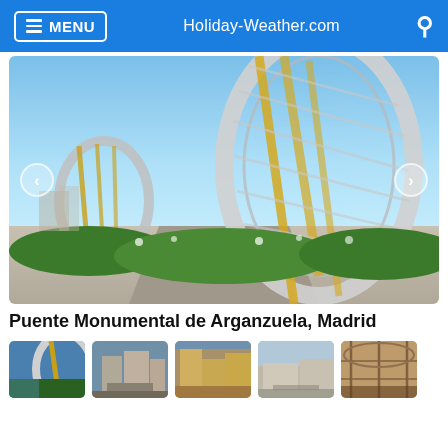MENU  Holiday-Weather.com
[Figure (photo): Large photo of Puente Monumental de Arganzuela bridge in Madrid, showing modern metallic tubular arch structures with yellow accents, road and greenery in foreground, blue sky background. Navigation arrows on left and right sides.]
Puente Monumental de Arganzuela, Madrid
[Figure (photo): Thumbnail 1: Puente Monumental de Arganzuela at dusk, silver structures]
[Figure (photo): Thumbnail 2: Gran Via Madrid street view with ornate buildings]
[Figure (photo): Thumbnail 3: Historic golden building facade in Madrid]
[Figure (photo): Thumbnail 4: Madrid plaza with people walking]
[Figure (photo): Thumbnail 5: Indoor glass and iron market or gallery structure]